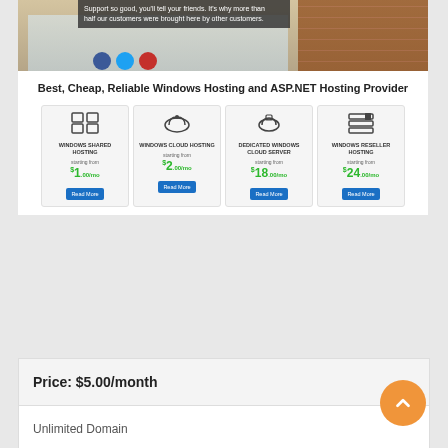[Figure (screenshot): Screenshot of a Windows Hosting website with office background photo, social media icons (Facebook, Twitter, YouTube), and a green CTA button for Windows Hosting Packages. Shows hosting product cards for Windows Shared Hosting ($1/mo), Windows Cloud Hosting ($2/mo), Dedicated Windows Cloud Server ($18/mo), Windows Reseller Hosting ($24/mo).]
Best, Cheap, Reliable Windows Hosting and ASP.NET Hosting Provider
| Price: $5.00/month |
| Unlimited Domain |
| Huge Bandwidth & Diskspace |
| Dedicated Application Pool |
| SQL Server 2008/2012/2014 |
| Worldclass Server |